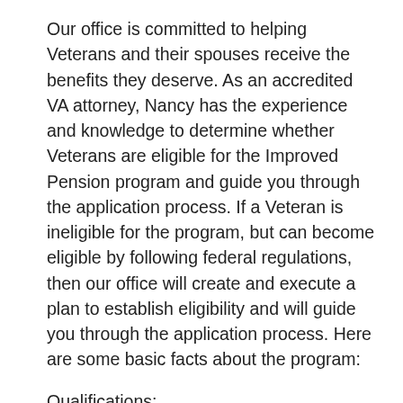Our office is committed to helping Veterans and their spouses receive the benefits they deserve. As an accredited VA attorney, Nancy has the experience and knowledge to determine whether Veterans are eligible for the Improved Pension program and guide you through the application process. If a Veteran is ineligible for the program, but can become eligible by following federal regulations, then our office will create and execute a plan to establish eligibility and will guide you through the application process. Here are some basic facts about the program:
Qualifications:
Veteran must have served at least 1 day during a qualifying war period.